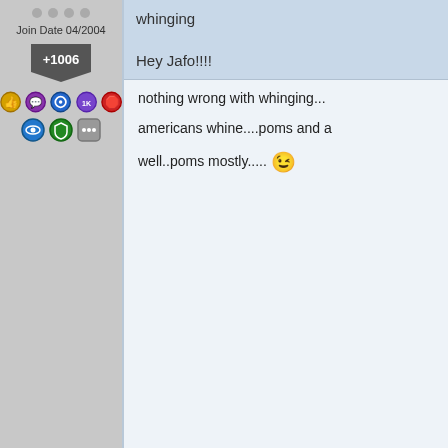Join Date 04/2004
+1006
nothing wrong with whinging...
americans whine....poms and a
well..poms mostly.....
Reply #23    July 7, 2010 8:20:41
[Figure (photo): Avatar image of DrJBHL - a cat with sunglasses wearing a blue uniform, with text 'LIVE 10% SUPER']
DrJBHL
Join Date 04/2002
+2589
Moderator